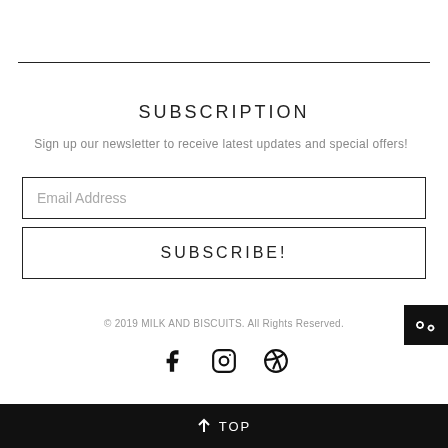SUBSCRIPTION
Sign up our newsletter to receive latest updates and special offers!
Email Address
SUBSCRIBE!
© 2019 MILK AND BISCUITS. All Rights Reserved.
[Figure (illustration): Social media icons: Facebook, Instagram, Pinterest]
↑ TOP